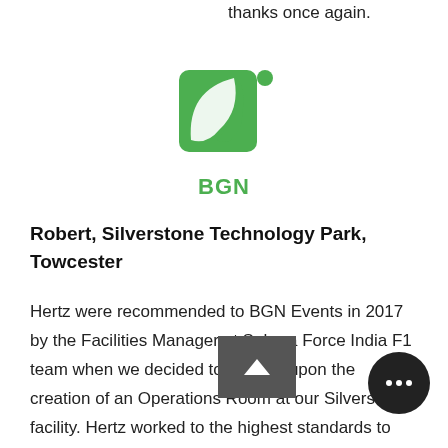thanks once again.
[Figure (logo): BGN logo: green leaf/square shape with a small green dot, and bold green text 'BGN' below]
Robert, Silverstone Technology Park, Towcester
Hertz were recommended to BGN Events in 2017 by the Facilities Manager at Sahara Force India F1 team when we decided to embark upon the creation of an Operations Room at our Silverstone facility. Hertz worked to the highest standards to meet our expectations and deliver a solution that stands up to the scrutiny of the most demanding eyes in high and motorsport. From initial